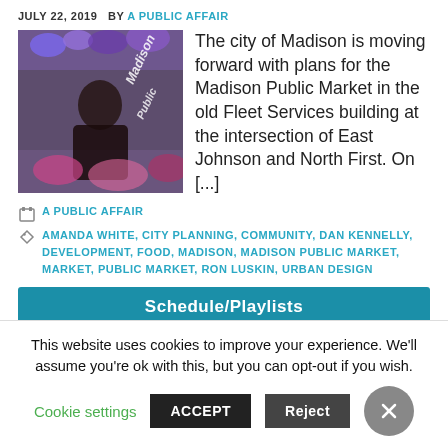JULY 22, 2019  BY A PUBLIC AFFAIR
[Figure (photo): A person arranging flowers at a market stall with 'Madison Public Market' text overlay]
The city of Madison is moving forward with plans for the Madison Public Market in the old Fleet Services building at the intersection of East Johnson and North First. On [...]
A PUBLIC AFFAIR
AMANDA WHITE, CITY PLANNING, COMMUNITY, DAN KENNELLY, DEVELOPMENT, FOOD, MADISON, MADISON PUBLIC MARKET, MARKET, PUBLIC MARKET, RON LUSKIN, URBAN DESIGN
Schedule/Playlists
This website uses cookies to improve your experience. We'll assume you're ok with this, but you can opt-out if you wish.